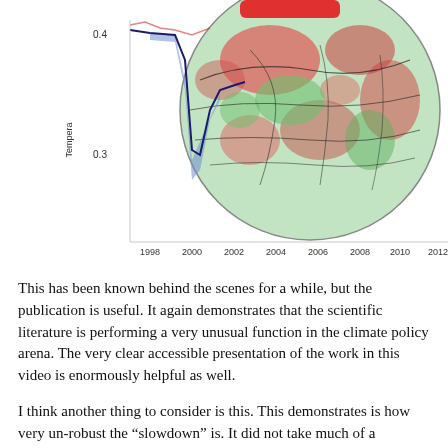[Figure (continuous-plot): Top portion of a composite figure showing: a line chart on the left with y-axis labeled 'Temperature' and values 0.3 and 0.4 marked, x-axis spanning years 1998 to 2012, with a dark blue line and a blue shaded area showing a dip around 2000; and a globe map on the right showing temperature anomalies in red (warm) and green (cool) patches with dark contour lines.]
This has been known behind the scenes for a while, but the publication is useful. It again demonstrates that the scientific literature is performing a very unusual function in the climate policy arena. The very clear accessible presentation of the work in this video is enormously helpful as well.
I think another thing to consider is this. This demonstrates is how very un-robust the “slowdown” is. It did not take much of a correction to eliminate the trend.